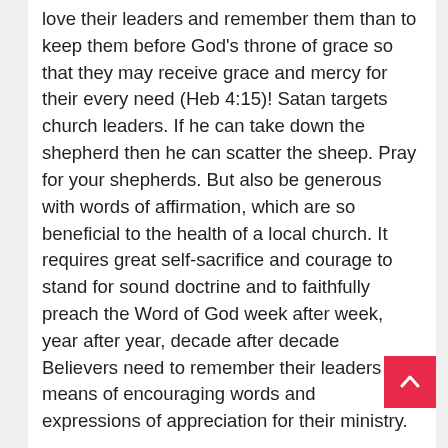love their leaders and remember them than to keep them before God's throne of grace so that they may receive grace and mercy for their every need (Heb 4:15)! Satan targets church leaders. If he can take down the shepherd then he can scatter the sheep. Pray for your shepherds. But also be generous with words of affirmation, which are so beneficial to the health of a local church. It requires great self-sacrifice and courage to stand for sound doctrine and to faithfully preach the Word of God week after week, year after year, decade after decade Believers need to remember their leaders by means of encouraging words and expressions of appreciation for their ministry.
Responsibility #8: To mimic them (Hebrews